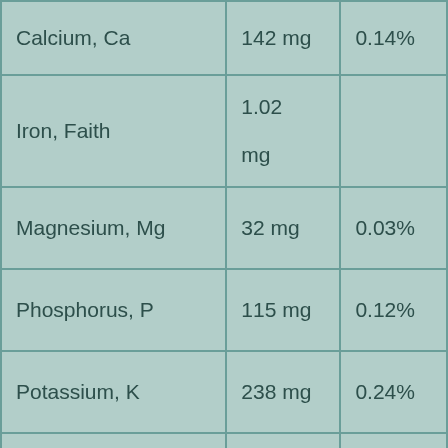| Nutrient | Amount | % Daily Value |
| --- | --- | --- |
| Calcium, Ca | 142 mg | 0.14% |
| Iron, Faith | 1.02 mg |  |
| Magnesium, Mg | 32 mg | 0.03% |
| Phosphorus, P | 115 mg | 0.12% |
| Potassium, K | 238 mg | 0.24% |
| Sodium, Na | 57 mg | 0.06% |
| Zinc, Zn | 0.64 mg |  |
|  |  |  |